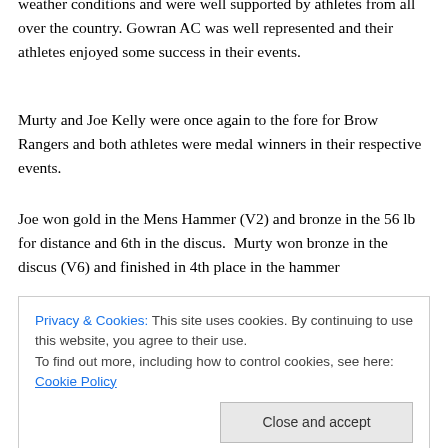weather conditions and were well supported by athletes from all over the country. Gowran AC was well represented and their athletes enjoyed some success in their events.
Murty and Joe Kelly were once again to the fore for Brow Rangers and both athletes were medal winners in their respective events.
Joe won gold in the Mens Hammer (V2) and bronze in the 56 lb for distance and 6th in the discus.  Murty won bronze in the discus (V6) and finished in 4th place in the hammer
John  Gorman finished 4th in the 200m (over 65).
Privacy & Cookies: This site uses cookies. By continuing to use this website, you agree to their use.
To find out more, including how to control cookies, see here: Cookie Policy
Eddie O Mahony was 3rd in the Javelin (over 45) with a